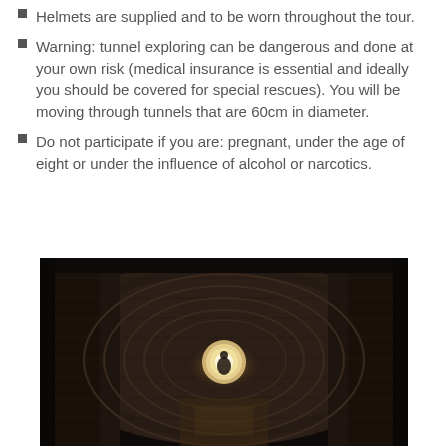Helmets are supplied and to be worn throughout the tour.
Warning: tunnel exploring can be dangerous and done at your own risk (medical insurance is essential and ideally you should be covered for special rescues). You will be moving through tunnels that are 60cm in diameter.
Do not participate if you are: pregnant, under the age of eight or under the influence of alcohol or narcotics.
[Figure (photo): A person stands inside a large circular brick tunnel, illuminated by a bright light source behind them, creating a dramatic silhouette effect. The tunnel interior shows concentric brick arches receding into darkness.]